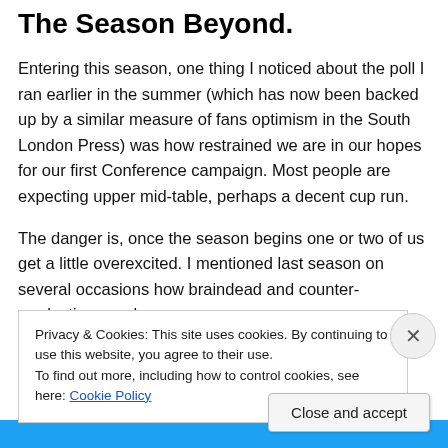The Season Beyond.
Entering this season, one thing I noticed about the poll I ran earlier in the summer (which has now been backed up by a similar measure of fans optimism in the South London Press) was how restrained we are in our hopes for our first Conference campaign. Most people are expecting upper mid-table, perhaps a decent cup run.
The danger is, once the season begins one or two of us get a little overexcited. I mentioned last season on several occasions how braindead and counter-productive vocal
Privacy & Cookies: This site uses cookies. By continuing to use this website, you agree to their use.
To find out more, including how to control cookies, see here: Cookie Policy